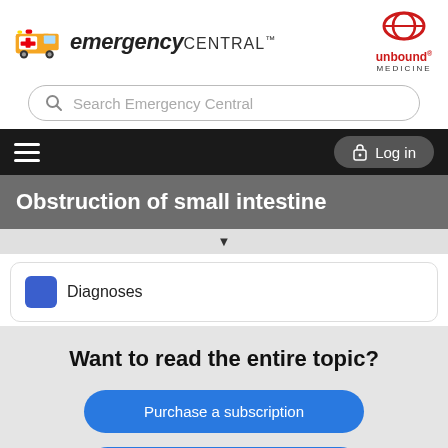[Figure (logo): Emergency Central logo with ambulance icon and Unbound Medicine logo on the right]
Search Emergency Central
Log in
Obstruction of small intestine
Diagnoses
Want to read the entire topic?
Purchase a subscription
I'm already a subscriber
Browse sample topics